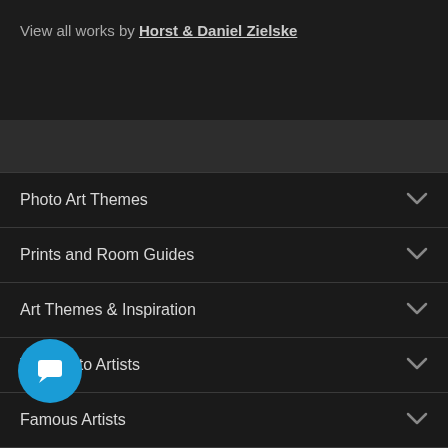View all works by Horst & Daniel Zielske
Photo Art Themes
Prints and Room Guides
Art Themes & Inspiration
Top Photo Artists
Famous Artists
(partially visible item)
About LUMAS (partially visible)